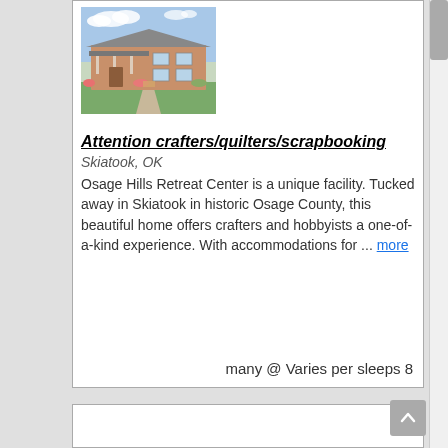[Figure (photo): Exterior photo of a brick ranch-style home with a covered porch and landscaping]
Attention crafters/quilters/scrapbooking
Skiatook, OK
Osage Hills Retreat Center is a unique facility. Tucked away in Skiatook in historic Osage County, this beautiful home offers crafters and hobbyists a one-of-a-kind experience. With accommodations for ... more
many @ Varies per sleeps 8